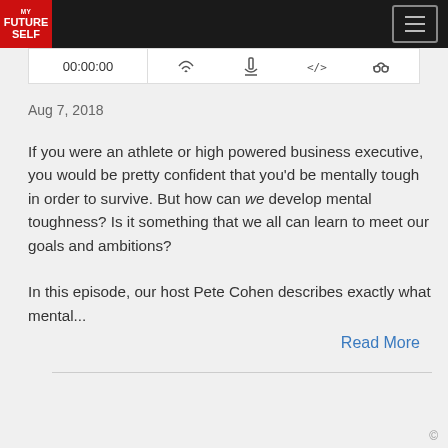My Future Self — podcast website header with logo and hamburger menu
[Figure (screenshot): Podcast audio player bar showing time 00:00:00 and icons for RSS feed, download, embed code, and headphones]
Aug 7, 2018
If you were an athlete or high powered business executive, you would be pretty confident that you'd be mentally tough in order to survive. But how can we develop mental toughness? Is it something that we all can learn to meet our goals and ambitions?

In this episode, our host Pete Cohen describes exactly what mental...
Read More
©